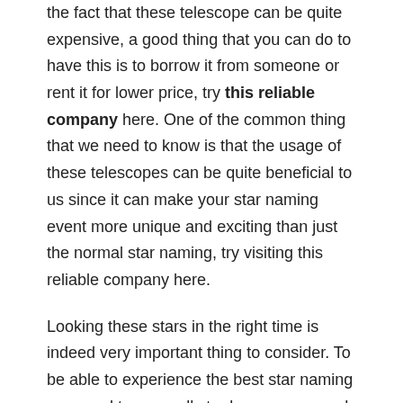the fact that these telescope can be quite expensive, a good thing that you can do to have this is to borrow it from someone or rent it for lower price, try this reliable company here. One of the common thing that we need to know is that the usage of these telescopes can be quite beneficial to us since it can make your star naming event more unique and exciting than just the normal star naming, try visiting this reliable company here.
Looking these stars in the right time is indeed very important thing to consider. To be able to experience the best star naming you need to generally to do some research of the time where they are generally more visible since in other time these stars may be less visible, visit this reliable company here.
One of the most important thing that will be needed in